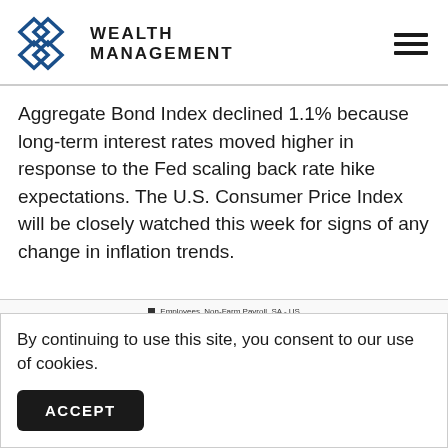Wealth Management
Aggregate Bond Index declined 1.1% because long-term interest rates moved higher in response to the Fed scaling back rate hike expectations. The U.S. Consumer Price Index will be closely watched this week for signs of any change in inflation trends.
[Figure (continuous-plot): Partial view of a chart with legend showing 'Employees, Non-Farm Payroll, SA - US' (bar) and 'Non-Farm Employment, 3M Moving Average - US' (line)]
By continuing to use this site, you consent to our use of cookies.